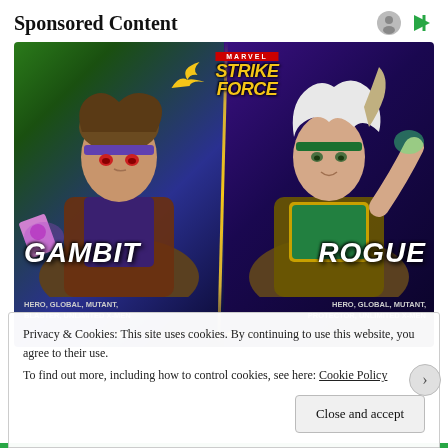Sponsored Content
[Figure (illustration): Marvel Strike Force advertisement showing two characters: Gambit (HERO, GLOBAL, MUTANT, BLASTER, UNLIMITED X-MEN) on the left with purple/green background, and Rogue (HERO, GLOBAL, MUTANT, PROTECTOR, UNLIMITED X-MEN) on the right with purple background. Marvel Strike Force logo at the top center. Gold stars along the bottom.]
Privacy & Cookies: This site uses cookies. By continuing to use this website, you agree to their use.
To find out more, including how to control cookies, see here: Cookie Policy
Close and accept